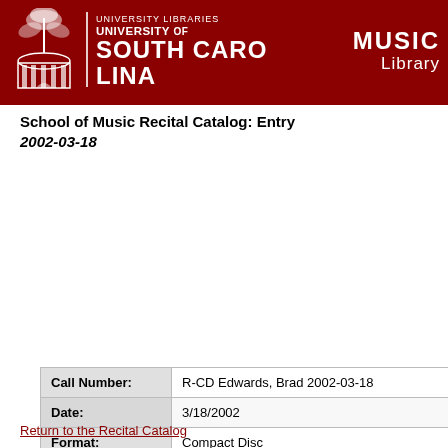UNIVERSITY LIBRARIES / UNIVERSITY OF SOUTH CAROLINA / MUSIC Library
School of Music Recital Catalog: Entry 2002-03-18
| Field | Value |
| --- | --- |
| Call Number: | R-CD Edwards, Brad 2002-03-18 |
| Date: | 3/18/2002 |
| Format: | Compact Disc |
| Title: | Edwards Faculty Recital |
| Performer(s): | Brad Edwards, Trombone (Faculty)
Winifred Goodwin, Piano (Faculty)
Christopher Lee, Percussion (Faculty)
Mike Miller, Trumpet (Faculty) |
| Notes: | An Elizabeth [i.e. Elizabethan] songbook 128 / Joseph Jongen -- T. Rex : for trombo variations for trombone and percussion Ewazen. |
Return to the Recital Catalog